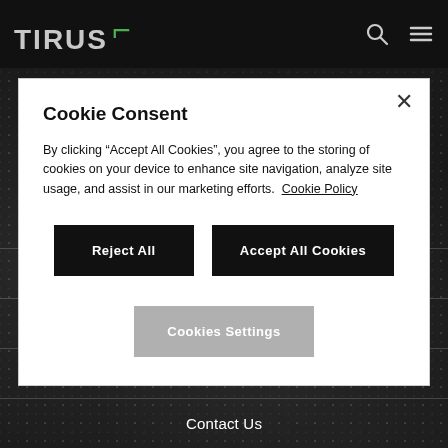[Figure (screenshot): Dark website background with textured grainy appearance]
TIRUS [logo with green bracket]
Cookie Consent
By clicking "Accept All Cookies", you agree to the storing of cookies on your device to enhance site navigation, analyze site usage, and assist in our marketing efforts.  Cookie Policy
Reject All
Accept All Cookies
Cookies Settings
Blog
Careers
Support
Contact Us